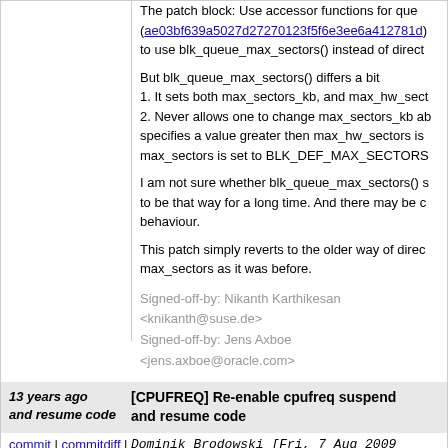The patch  block: Use accessor functions for queue limits (ae03bf639a5027d27270123f5f6e3ee6a412781d) to use blk_queue_max_sectors() instead of direct
But blk_queue_max_sectors() differs a bit
1. It sets both max_sectors_kb, and max_hw_sect
2. Never allows one to change max_sectors_kb ab specifies a value greater then max_hw_sectors is max_sectors is set to BLK_DEF_MAX_SECTORS
I am not sure whether blk_queue_max_sectors() s to be that way for a long time. And there may be c behaviour.
This patch simply reverts to the older way of direc max_sectors as it was before.
Signed-off-by: Nikanth Karthikesan <knikanth@suse.de>
Signed-off-by: Jens Axboe <jens.axboe@oracle.com>
13 years ago and resume code
[CPUFREQ] Re-enable cpufreq suspend and resume code
commit | commitdiff | tree   Dominik Brodowski [Fri, 7 Aug 2009 20:58:51 +0000 (22:58 +0200)]
[CPUFREQ] Re-enable cpufreq suspend and resume code